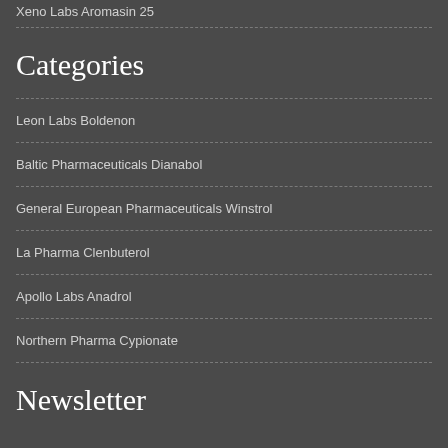Xeno Labs Aromasin 25
Categories
Leon Labs Boldenon
Baltic Pharmaceuticals Dianabol
General European Pharmaceuticals Winstrol
La Pharma Clenbuterol
Apollo Labs Anadrol
Northern Pharma Cypionate
Newsletter